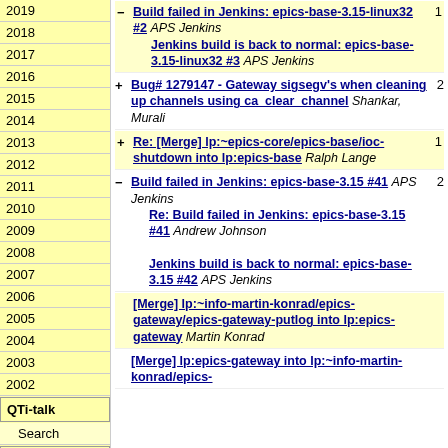2019
2018
2017
2016
2015
2014
2013
2012
2011
2010
2009
2008
2007
2006
2005
2004
2003
2002
QTi-talk
Search
Hw-talk
- Build failed in Jenkins: epics-base-3.15-linux32 #2 APS Jenkins Jenkins build is back to normal: epics-base-3.15-linux32 #3 APS Jenkins [count: 1]
+ Bug# 1279147 - Gateway sigsegv's when cleaning up channels using ca_clear_channel Shankar, Murali [count: 2]
+ Re: [Merge] lp:~epics-core/epics-base/ioc-shutdown into lp:epics-base Ralph Lange [count: 1]
- Build failed in Jenkins: epics-base-3.15 #41 APS Jenkins Re: Build failed in Jenkins: epics-base-3.15 #41 Andrew Johnson Jenkins build is back to normal: epics-base-3.15 #42 APS Jenkins [count: 2]
[Merge] lp:~info-martin-konrad/epics-gateway/epics-gateway-putlog into lp:epics-gateway Martin Konrad
[Merge] lp:epics-gateway into lp:~info-martin-konrad/epics-